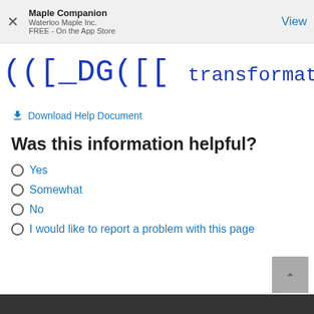Maple Companion
Waterloo Maple Inc.
FREE - On the App Store
View
[Figure (screenshot): Partial code snippet showing: (([_DG([[ transformation', [[M, 0], [... in blue monospace font, cropped on right edge]
⬇ Download Help Document
Was this information helpful?
Yes
Somewhat
No
I would like to report a problem with this page